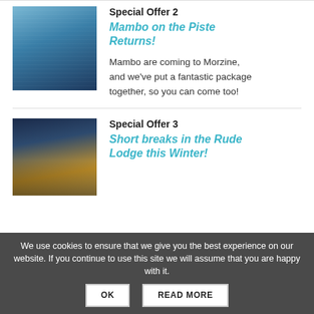[Figure (photo): Mambo on the Piste ski event poster with blue winter mountain background]
Special Offer 2
Mambo on the Piste Returns!
Mambo are coming to Morzine, and we've put a fantastic package together, so you can come too!
[Figure (photo): Lodge building at night with warm yellow lighting against dark blue sky]
Special Offer 3
Short breaks in the Rude Lodge this Winter!
We use cookies to ensure that we give you the best experience on our website. If you continue to use this site we will assume that you are happy with it.